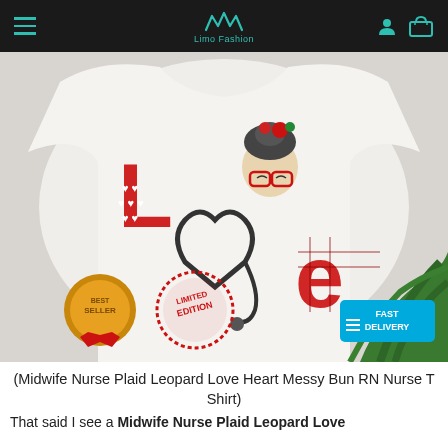Limo Fashion
[Figure (photo): White t-shirt with 'LOVE' graphic featuring a nurse/midwife messy bun character and stethoscope heart design in red plaid and leopard print. Overlaid badges: Best Seller gold seal, Limited Edition red stamp, Fast Delivery blue badge.]
(Midwife Nurse Plaid Leopard Love Heart Messy Bun RN Nurse T Shirt)
That said I see a Midwife Nurse Plaid Leopard Love